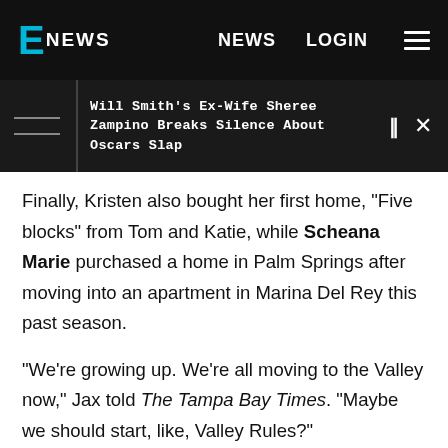E NEWS   NEWS   LOGIN
Will Smith's Ex-Wife Sheree Zampino Breaks Silence About Oscars Slap
Finally, Kristen also bought her first home, "Five blocks" from Tom and Katie, while Scheana Marie purchased a home in Palm Springs after moving into an apartment in Marina Del Rey this past season.
"We're growing up. We're all moving to the Valley now," Jax told The Tampa Bay Times. "Maybe we should start, like, Valley Rules?"
Or maybe The Real Housewives of Studio City?